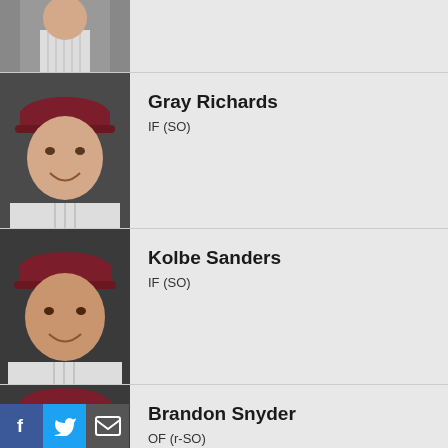[Figure (photo): Baseball player in pinstripe uniform, partial view at top]
[Figure (photo): Gray Richards headshot wearing maroon baseball cap with team logo]
Gray Richards
IF (SO)
[Figure (photo): Kolbe Sanders headshot wearing maroon baseball cap with team logo]
Kolbe Sanders
IF (SO)
[Figure (photo): Brandon Snyder headshot wearing maroon baseball cap with team logo, partial view]
Brandon Snyder
OF (r-SO)